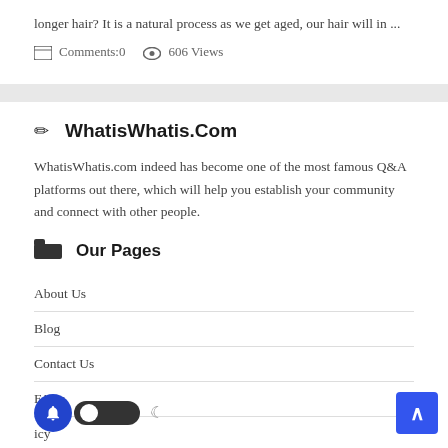longer hair? It is a natural process as we get aged, our hair will in ...
Comments:0   606 Views
WhatisWhatis.Com
WhatisWhatis.com indeed has become one of the most famous Q&A platforms out there, which will help you establish your community and connect with other people.
Our Pages
About Us
Blog
Contact Us
FAQs
icy